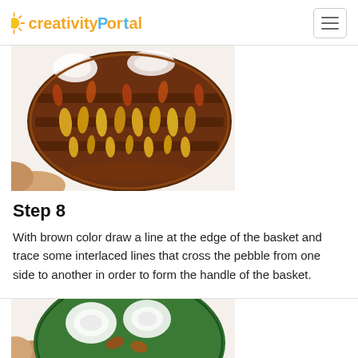Creativity Portal
[Figure (photo): Top-down close-up photo of a painted pebble resembling a wicker basket with brown background and yellow/orange leaf-shaped markings, white accents at top, held by a hand.]
Step 8
With brown color draw a line at the edge of the basket and trace some interlaced lines that cross the pebble from one side to another in order to form the handle of the basket.
[Figure (photo): Partially visible photo at bottom of page showing a painted pebble with green and white design, held by a hand, cropped at bottom edge.]